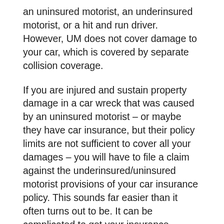an uninsured motorist, an underinsured motorist, or a hit and run driver. However, UM does not cover damage to your car, which is covered by separate collision coverage.
If you are injured and sustain property damage in a car wreck that was caused by an uninsured motorist – or maybe they have car insurance, but their policy limits are not sufficient to cover all your damages – you will have to file a claim against the underinsured/uninsured motorist provisions of your car insurance policy. This sounds far easier than it often turns out to be. It can be complicated to get your insurance company to pay an UM/UIM claim. Insurance companies often deny legitimate claims to avoid paying you.
This is why you will benefit from the services of a skilled Oklahoma underinsured motorist accident lawyer who is thoroughly familiar with the tactics that insurance companies use to avoid paying claims. We can help make sure that you recover the compensation you